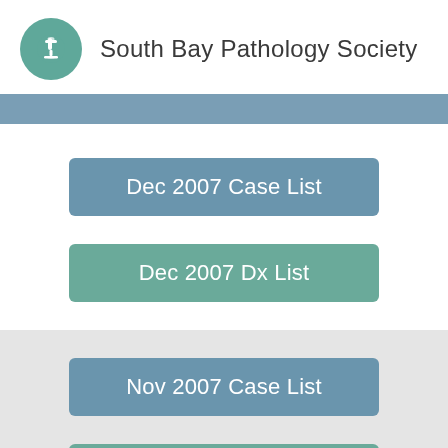South Bay Pathology Society
Dec 2007 Case List
Dec 2007 Dx List
Nov 2007 Case List
Nov 2007 Dx List